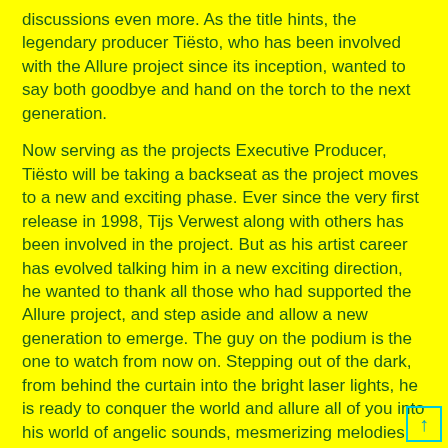discussions even more. As the title hints, the legendary producer Tiësto, who has been involved with the Allure project since its inception, wanted to say both goodbye and hand on the torch to the next generation.
Now serving as the projects Executive Producer, Tiësto will be taking a backseat as the project moves to a new and exciting phase. Ever since the very first release in 1998, Tijs Verwest along with others has been involved in the project. But as his artist career has evolved talking him in a new exciting direction, he wanted to thank all those who had supported the Allure project, and step aside and allow a new generation to emerge. The guy on the podium is the one to watch from now on. Stepping out of the dark, from behind the curtain into the bright laser lights, he is ready to conquer the world and allure all of you into his world of angelic sounds, mesmerizing melodies and captivating beats.
Fuzzy Admiral – The Saint
A bit out of the box track, but with a very catchy lead that you want to hear over and over again. Perfect track to build in some kind of a break in your set. Also a great track to end the evening with